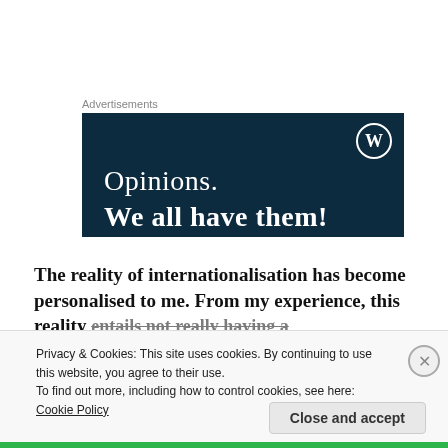Advertisements
[Figure (screenshot): WordPress advertisement banner with dark navy background showing the WordPress 'W' circle logo in top right, text 'Opinions.' in white serif light font and 'We all have them!' in white serif bold font below.]
The reality of internationalisation has become personalised to me. From my experience, this reality entails not really having a physical/tangible sense of
Privacy & Cookies: This site uses cookies. By continuing to use this website, you agree to their use.
To find out more, including how to control cookies, see here: Cookie Policy
Close and accept